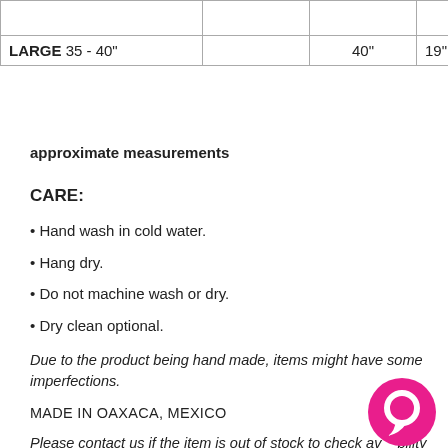|  |  |  |  |
| --- | --- | --- | --- |
|  |  |  |  |
| LARGE  35 - 40" |  | 40" | 19" |
approximate measurements
CARE:
• Hand wash in cold water.
• Hang dry.
• Do not machine wash or dry.
• Dry clean optional.
Due to the product being hand made, items might have some imperfections.
MADE IN OAXACA, MEXICO
Please contact us if the item is out of stock to check availability and lead time from artisans. Please note that no two exactly the same. The embroidered color patterns on pieces can not be duplicated. There will always be variations in color